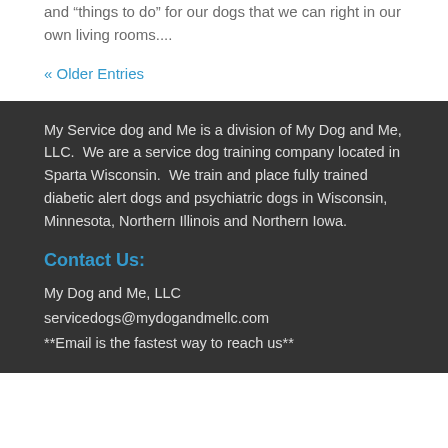and “things to do” for our dogs that we can right in our own living rooms....
« Older Entries
My Service dog and Me is a division of My Dog and Me, LLC.  We are a service dog training company located in Sparta Wisconsin.  We train and place fully trained diabetic alert dogs and psychiatric dogs in Wisconsin, Minnesota, Northern Illinois and Northern Iowa.
Contact Us:
My Dog and Me, LLC
servicedogs@mydogandmellc.com
**Email is the fastest way to reach us**